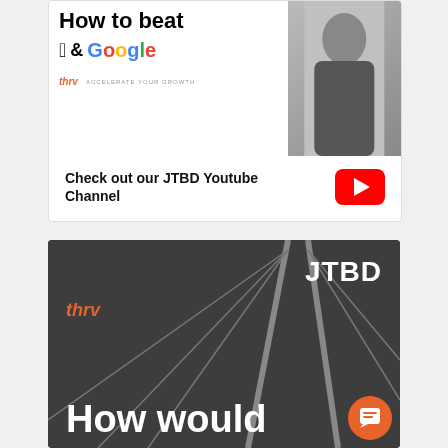[Figure (screenshot): Thumbnail image showing 'How to beat Apple & Google' with thrv logo and person photo in background]
Check out our JTBD Youtube Channel
[Figure (logo): YouTube play button logo (red rectangle with white triangle)]
[Figure (screenshot): Dark background video thumbnail showing JTBD, thrv logo in orange, bridge structure lines, and text 'How would' with orange chat bubble icon]